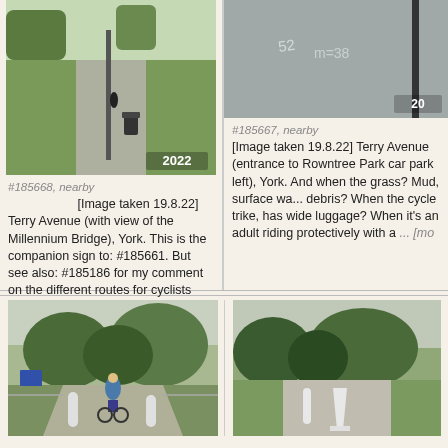[Figure (photo): Path/cycleway with pole and bin, year stamp 2022]
#185668, nearby
[Image taken 19.8.22] Terry Avenue (with view of the Millennium Bridge), York. This is the companion sign to: #185661. But see also: #185186 for my comment on the different routes for cyclists and pedestrians. Other image today and links: # ... [more]
[Figure (photo): Road surface with markings, year stamp 20...]
#185667, nearby
[Image taken 19.8.22] Terry Avenue (entrance to Rowntree Park car park left), York. And when the grass? Mud, surface wa... debris? When the cycle trike, has wide luggage? When it's an adult riding protectively with a ... [more]
[Figure (photo): Cyclist on path with bollards and trees]
[Figure (photo): Path with white bollard and trees]